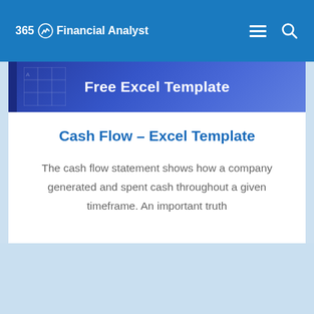365 Financial Analyst
[Figure (screenshot): Banner image with text 'Free Excel Template' over a blue gradient background with a faint Excel spreadsheet grid in the background]
Cash Flow – Excel Template
The cash flow statement shows how a company generated and spent cash throughout a given timeframe. An important truth